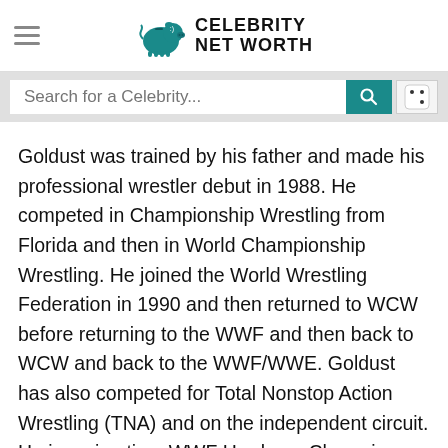Celebrity Net Worth
Goldust was trained by his father and made his professional wrestler debut in 1988. He competed in Championship Wrestling from Florida and then in World Championship Wrestling. He joined the World Wrestling Federation in 1990 and then returned to WCW before returning to the WWF and then back to WCW and back to the WWF/WWE. Goldust has also competed for Total Nonstop Action Wrestling (TNA) and on the independent circuit. He is a nine time WWF Hardcore Champion, a three time WWF Intercontinental Champion, a two time WWE Tag Team Champion, and a World Tag Team Champion. Goldust also held the WCW United States